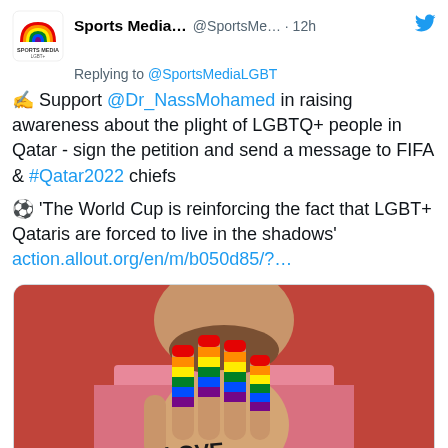[Figure (screenshot): Sports Media LGBT+ Twitter/X account avatar - rainbow arc logo with 'SPORTS MEDIA LGBT+' text]
Sports Media... @SportsMe... · 12h
Replying to @SportsMediaLGBT
✍ Support @Dr_NassMohamed in raising awareness about the plight of LGBTQ+ people in Qatar - sign the petition and send a message to FIFA & #Qatar2022 chiefs
⚽ 'The World Cup is reinforcing the fact that LGBT+ Qataris are forced to live in the shadows'
action.allout.org/en/m/b050d85/?...
[Figure (photo): Person holding up a hand with fingers painted in rainbow pride flag colors, palm facing camera with 'LOVE NOT' written on the palm in black letters. Person wearing pink shirt, background red.]
action.allout.org
FIFA: Tell Qatar Love Is Not A Crime